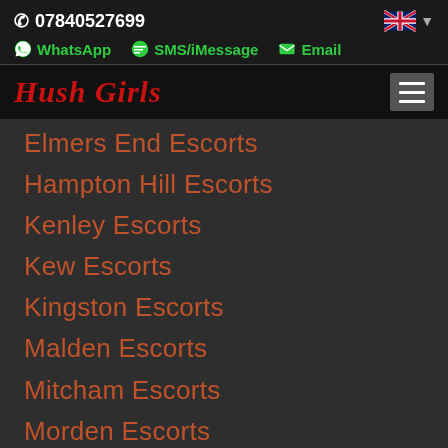07840527699
WhatsApp  SMS/iMessage  Email
Hush Girls
Elmers End Escorts
Hampton Hill Escorts
Kenley Escorts
Kew Escorts
Kingston Escorts
Malden Escorts
Mitcham Escorts
Morden Escorts
Norbury Escorts
Orpington Escorts
Purley Escorts